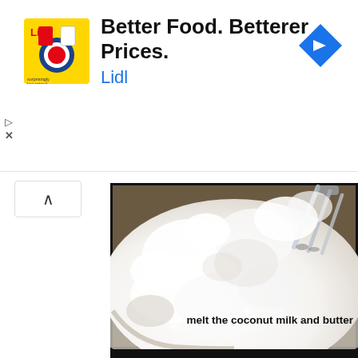[Figure (screenshot): Advertisement banner for Lidl grocery store with yellow logo showing 'Lidl' mascot character and text 'Better Food. Betterer Prices. Lidl' with a blue navigation arrow icon on the right and ad control icons (play/close) on the left]
[Figure (photo): Close-up photograph of white flour in a clear glass mixing bowl with a whisk or beater visible in the upper right corner, shot from above at an angle]
melt the coconut milk and butter